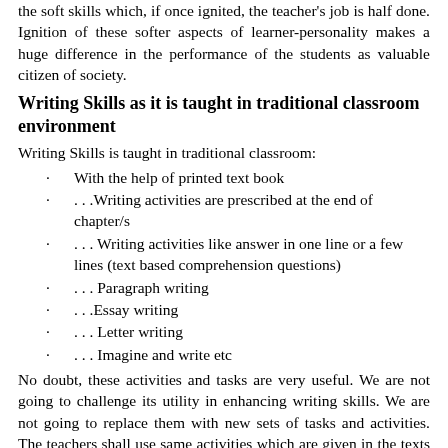the soft skills which, if once ignited, the teacher's job is half done. Ignition of these softer aspects of learner-personality makes a huge difference in the performance of the students as valuable citizen of society.
Writing Skills as it is taught in traditional classroom environment
Writing Skills is taught in traditional classroom:
With the help of printed text book
…Writing activities are prescribed at the end of chapter/s
… Writing activities like answer in one line or a few lines (text based comprehension questions)
… Paragraph writing
…Essay writing
… Letter writing
… Imagine and write etc
No doubt, these activities and tasks are very useful. We are not going to challenge its utility in enhancing writing skills. We are not going to replace them with new sets of tasks and activities. The teachers shall use same activities which are given in the texts books but with a difference. The difference is – the integration if ICT / Web 2.0 tools. The traditional activities and tasks will take